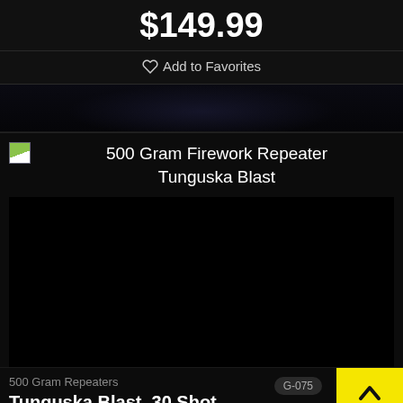$149.99
♡ Add to Favorites
[Figure (photo): Product image placeholder showing broken image icon with text '500 Gram Firework Repeater Tunguska Blast' on dark background]
500 Gram Repeaters
G-075
Tunguska Blast, 30 Shot